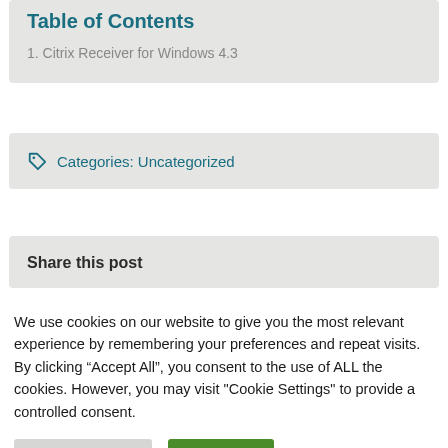Table of Contents
1.  Citrix Receiver for Windows 4.3
Categories: Uncategorized
Share this post
We use cookies on our website to give you the most relevant experience by remembering your preferences and repeat visits. By clicking “Accept All”, you consent to the use of ALL the cookies. However, you may visit "Cookie Settings" to provide a controlled consent.
Cookie Settings | Accept All